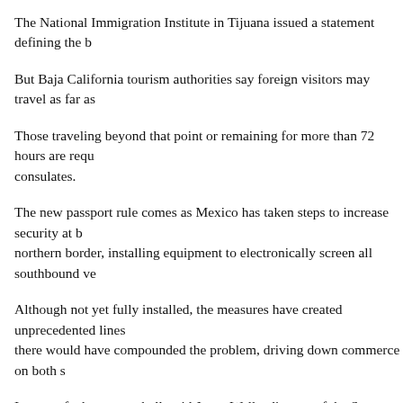The National Immigration Institute in Tijuana issued a statement defining the b
But Baja California tourism authorities say foreign visitors may travel as far as
Those traveling beyond that point or remaining for more than 72 hours are requ consulates.
The new passport rule comes as Mexico has taken steps to increase security at i northern border, installing equipment to electronically screen all southbound ve
Although not yet fully installed, the measures have created unprecedented lines there would have compounded the problem, driving down commerce on both s
Its part of a huge snowball, said Jason Wells, director of the San Ysidro Chamb
Share this:
[Figure (logo): Twitter share icon - cyan circle with white Twitter bird]
[Figure (logo): Facebook share icon - blue circle with white Facebook f]